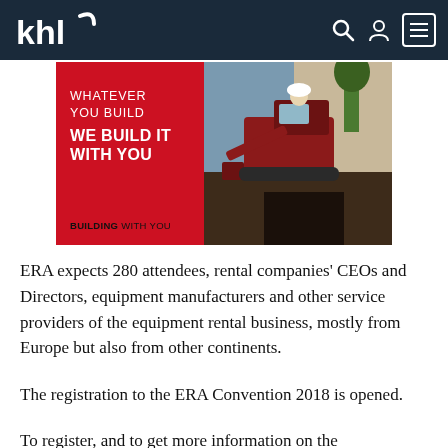khl
[Figure (photo): Advertisement banner showing a red panel with text 'WHATEVER YOU BUILD WE BUILD IT WITH YOU' and 'BUILDING WITH YOU', alongside a photo of a mini excavator in a trench operated by a worker wearing a white hard hat.]
ERA expects 280 attendees, rental companies' CEOs and Directors, equipment manufacturers and other service providers of the equipment rental business, mostly from Europe but also from other continents.
The registration to the ERA Convention 2018 is opened.
To register, and to get more information on the